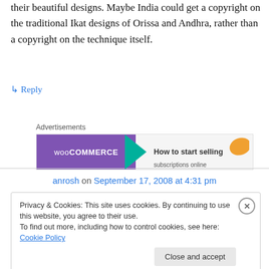their beautiful designs. Maybe India could get a copyright on the traditional Ikat designs of Orissa and Andhra, rather than a copyright on the technique itself.
↳ Reply
Advertisements
[Figure (screenshot): WooCommerce advertisement banner: purple left section with WooCommerce logo and green arrow, white right section with orange shape and text 'How to start selling subscriptions online']
anrosh on September 17, 2008 at 4:31 pm
Privacy & Cookies: This site uses cookies. By continuing to use this website, you agree to their use.
To find out more, including how to control cookies, see here: Cookie Policy
Close and accept